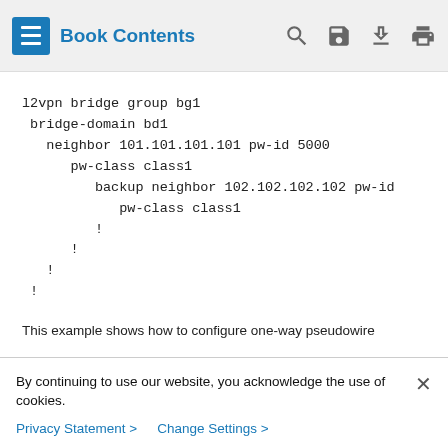Book Contents
l2vpn bridge group bg1
 bridge-domain bd1
   neighbor 101.101.101.101 pw-id 5000
      pw-class class1
         backup neighbor 102.102.102.102 pw-id
            pw-class class1
         !
      !
   !
 !
This example shows how to configure one-way pseudowire
By continuing to use our website, you acknowledge the use of cookies.
Privacy Statement >  Change Settings >